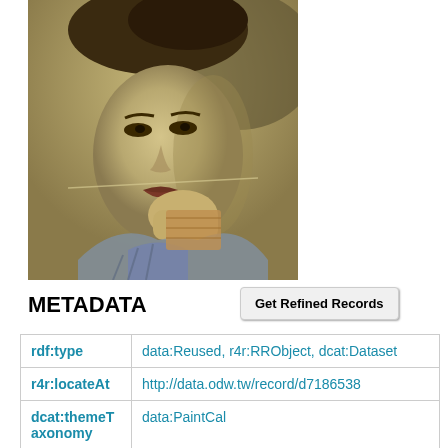[Figure (photo): Sepia-toned vintage photograph of a Japanese woman in traditional kimono, looking toward camera with hand raised near chin]
METADATA
Get Refined Records
| rdf:type | data:Reused, r4r:RRObject, dcat:Dataset |
| r4r:locateAt | http://data.odw.tw/record/d7186538 |
| dcat:themeT axonomy | data:PaintCal |
| dc:contribut | □□□□□: □□□(□□□□□□) |